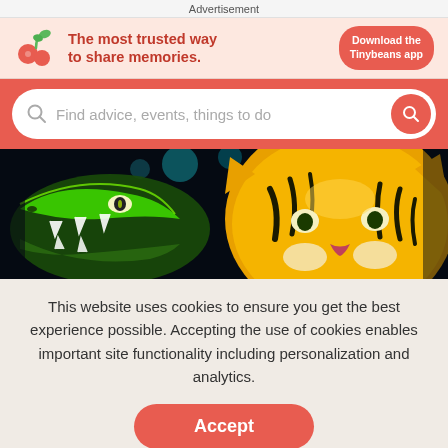Advertisement
[Figure (illustration): Tinybeans app advertisement banner with cherry/seedling logo, text 'The most trusted way to share memories.' and a red 'Download the Tinybeans app' button]
[Figure (screenshot): Red search bar with magnifying glass icon and placeholder text 'Find advice, events, things to do' on a red background]
[Figure (photo): Illuminated animal lantern sculptures — a green glowing crocodile/alligator on the left and a yellow/orange tiger on the right, against a dark night sky background]
This website uses cookies to ensure you get the best experience possible. Accepting the use of cookies enables important site functionality including personalization and analytics.
Accept
Decline